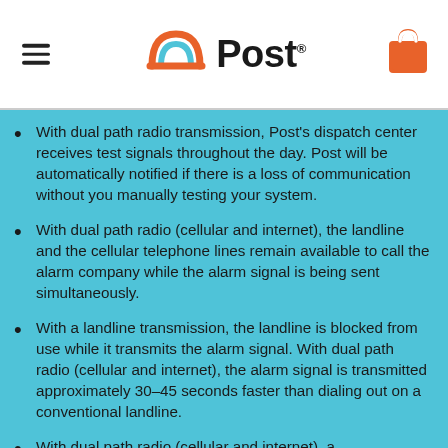Post logo header with hamburger menu and shopping bag icon
With dual path radio transmission, Post's dispatch center receives test signals throughout the day. Post will be automatically notified if there is a loss of communication without you manually testing your system.
With dual path radio (cellular and internet), the landline and the cellular telephone lines remain available to call the alarm company while the alarm signal is being sent simultaneously.
With a landline transmission, the landline is blocked from use while it transmits the alarm signal. With dual path radio (cellular and internet), the alarm signal is transmitted approximately 30–45 seconds faster than dialing out on a conventional landline.
With dual path radio (cellular and internet), a